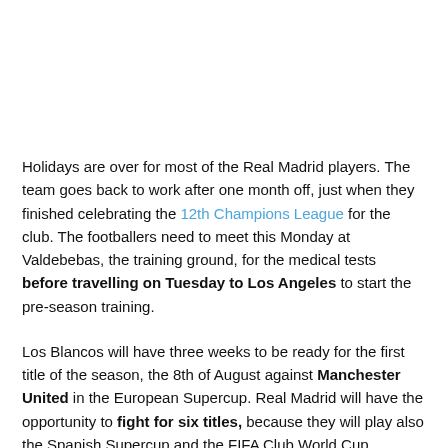Holidays are over for most of the Real Madrid players. The team goes back to work after one month off, just when they finished celebrating the 12th Champions League for the club. The footballers need to meet this Monday at Valdebebas, the training ground, for the medical tests before travelling on Tuesday to Los Angeles to start the pre-season training.
Los Blancos will have three weeks to be ready for the first title of the season, the 8th of August against Manchester United in the European Supercup. Real Madrid will have the opportunity to fight for six titles, because they will play also the Spanish Supercup and the FIFA Club World Cup.